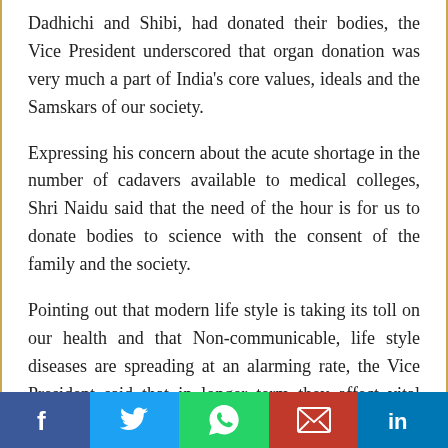Dadhichi and Shibi, had donated their bodies, the Vice President underscored that organ donation was very much a part of India's core values, ideals and the Samskars of our society.
Expressing his concern about the acute shortage in the number of cadavers available to medical colleges, Shri Naidu said that the need of the hour is for us to donate bodies to science with the consent of the family and the society.
Pointing out that modern life style is taking its toll on our health and that Non-communicable, life style diseases are spreading at an alarming rate, the Vice President said that in longer term they affect vital organs, necessitating a transplant.  He said that while scientists have developed synthetic alternatives, in case of vital internal organs like kidney, heart, liver, we still largely depend on organ donation for transplant.
Social share bar: Facebook, Twitter, WhatsApp, Email, LinkedIn